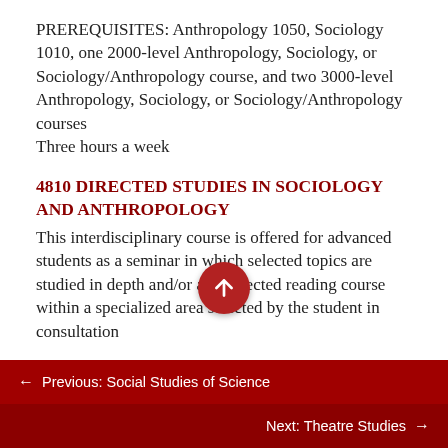PREREQUISITES: Anthropology 1050, Sociology 1010, one 2000-level Anthropology, Sociology, or Sociology/Anthropology course, and two 3000-level Anthropology, Sociology, or Sociology/Anthropology courses
Three hours a week
4810 DIRECTED STUDIES IN SOCIOLOGY AND ANTHROPOLOGY
This interdisciplinary course is offered for advanced students as a seminar in which selected topics are studied in depth and/or as a directed reading course within a specialized area selected by the student in consultation
← Previous: Social Studies of Science
Next: Theatre Studies →